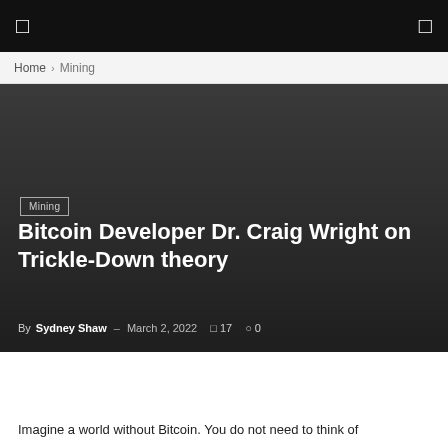[ ] navigation icon | [ ] search icon
Home › Mining
[Figure (photo): Dark gray gradient hero image background for article header]
Mining
Bitcoin Developer Dr. Craig Wright on Trickle-Down theory
By Sydney Shaw – March 2, 2022  ⬡ 17  ○ 0
Imagine a world without Bitcoin. You do not need to think of